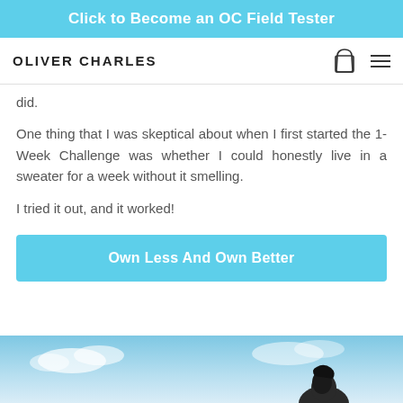Click to Become an OC Field Tester
OLIVER CHARLES
did.
One thing that I was skeptical about when I first started the 1-Week Challenge was whether I could honestly live in a sweater for a week without it smelling.
I tried it out, and it worked!
Own Less And Own Better
[Figure (photo): Partial view of a person outdoors with sky in background]